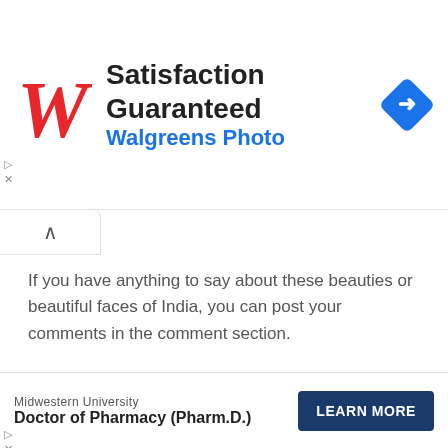[Figure (screenshot): Walgreens Photo advertisement banner with red cursive W logo, title 'Satisfaction Guaranteed', subtitle 'Walgreens Photo', and blue diamond navigation icon on the right]
If you have anything to say about these beauties or beautiful faces of India, you can post your comments in the comment section.
Tags: 10 beautiful women of India  Best Top Female Faces From India  beauty
[Figure (screenshot): Bottom advertisement for Midwestern University Doctor of Pharmacy (Pharm.D.) with a 'LEARN MORE' button]